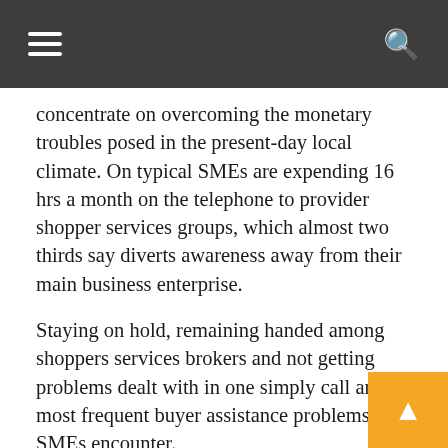concentrate on overcoming the monetary troubles posed in the present-day local climate. On typical SMEs are expending 16 hrs a month on the telephone to provider shopper services groups, which almost two thirds say diverts awareness away from their main business enterprise.
Staying on hold, remaining handed among shoppers services brokers and not getting problems dealt with in one simply call are the most frequent buyer assistance problems SMEs encounter.
Just four in 10 unbiased enterprises say that the shopper service they get has improved since the pandemic, even though 64 for each cent say low buyer services from their suppliers impacts their